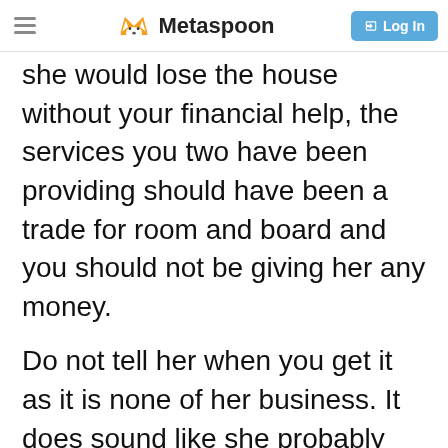Metaspoon | Log In
she would lose the house without your financial help, the services you two have been providing should have been a trade for room and board and you should not be giving her any money.
Do not tell her when you get it as it is none of her business. It does sound like she probably needs a physical as some of her mood/behavioral changes could be from onset of dementia. That also might cause an issue with any